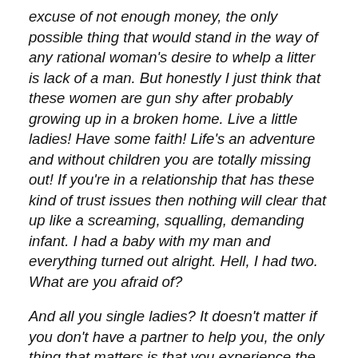excuse of not enough money, the only possible thing that would stand in the way of any rational woman's desire to whelp a litter is lack of a man. But honestly I just think that these women are gun shy after probably growing up in a broken home. Live a little ladies! Have some faith! Life's an adventure and without children you are totally missing out! If you're in a relationship that has these kind of trust issues then nothing will clear that up like a screaming, squalling, demanding infant. I had a baby with my man and everything turned out alright. Hell, I had two. What are you afraid of?
And all you single ladies? It doesn't matter if you don't have a partner to help you, the only thing that matters is that you experience the joys of parenting. (But only if you're ready for it of course. After all it is the hardest job in the world.) Of course given that I am married and have no